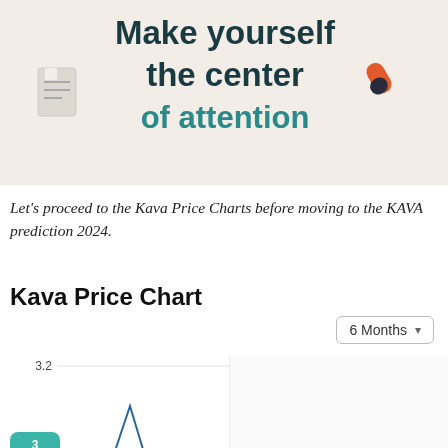[Figure (illustration): Promotional banner with beige/cream background showing the text 'Make yourself the center of attention' with a document icon on the left and a pill/capsule icon on the right]
Let's proceed to the Kava Price Charts before moving to the KAVA prediction 2024.
Kava Price Chart
[Figure (line-chart): Line chart showing Kava price over 6 months. Y-axis shows values 2.8 and 3.2 visible. Chart has a spike visible near the left portion. A teal up-arrow button with number 3 overlays the bottom-left of the chart.]